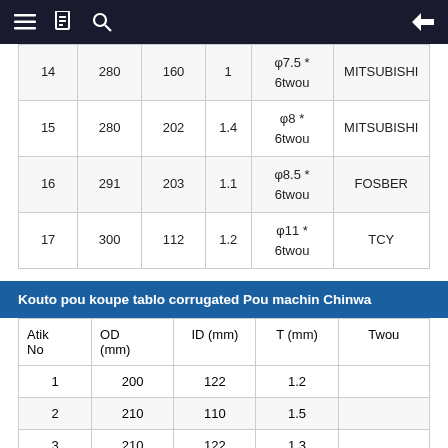Navigation bar with menu, document, search icons and back arrow
|  |  |  |  |  |  |
| --- | --- | --- | --- | --- | --- |
| 14 | 280 | 160 | 1 | φ7.5 * 6twou | MITSUBISHI |
| 15 | 280 | 202 | 1.4 | φ8 * 6twou | MITSUBISHI |
| 16 | 291 | 203 | 1.1 | φ8.5 * 6twou | FOSBER |
| 17 | 300 | 112 | 1.2 | φ11 * 6twou | TCY |
Kouto pou koupe tablo corrugated Pou machin Chinwa
| Atik No | OD (mm) | ID (mm) | T (mm) | Twou |
| --- | --- | --- | --- | --- |
| 1 | 200 | 122 | 1.2 |  |
| 2 | 210 | 110 | 1.5 |  |
| 3 | 210 | 122 | 1.3 |  |
| 4 | 230 | 110 | 1.3 |  |